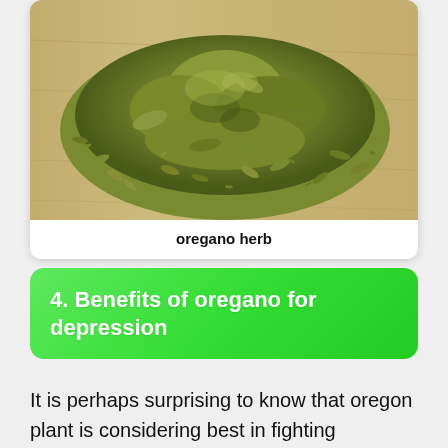[Figure (photo): A pile of dried oregano herb leaves spread on a light wooden surface]
oregano herb
4. Benefits of oregano for depression
It is perhaps surprising to know that oregon plant is considering best in fighting depression.